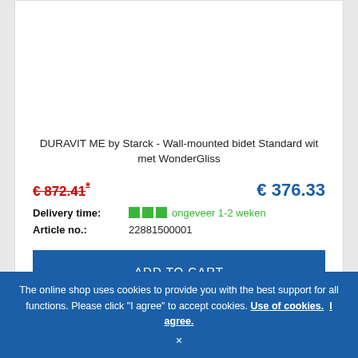[Figure (photo): Product image area for DURAVIT ME by Starck bidet (white/empty image area)]
DURAVIT ME by Starck - Wall-mounted bidet Standard wit met WonderGliss
€ 872.41*  € 376.33
Delivery time:   ongeveer 1-2 weken
Article no.:  22881500001
ADD TO CART
[Figure (logo): Villeroy & Boch logo on blue background, partial second product card with -40% discount badge]
The online shop uses cookies to provide you with the best support for all functions. Please click "I agree" to accept cookies. Use of cookies.  I agree.  ×